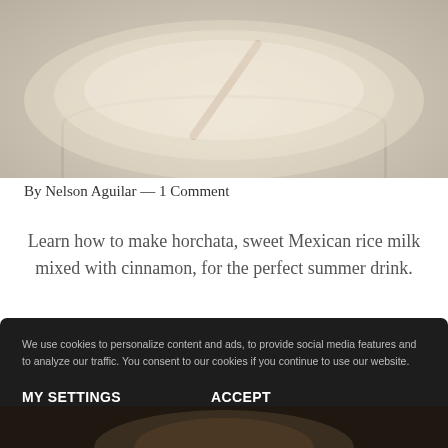[Figure (photo): Top-down view of horchata drink with a cinnamon stick in a glass jar, light creamy color]
By Nelson Aguilar — 1 Comment
Learn how to make horchata, sweet Mexican rice milk mixed with cinnamon, for the perfect summer drink.
We use cookies to personalize content and ads, to provide social media features and to analyze our traffic. You consent to our cookies if you continue to use our website.
MY SETTINGS
ACCEPT
[Figure (photo): Partial view of horchata drink at the bottom of the page, dark background]